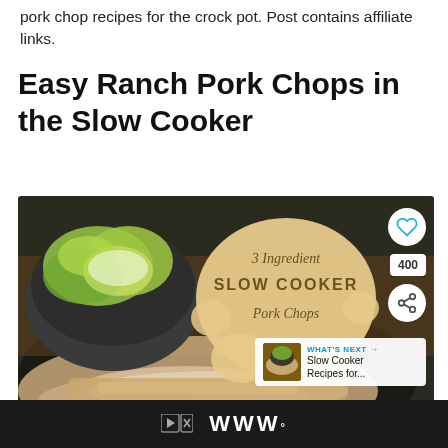pork chop recipes for the crock pot. Post contains affiliate links.
Easy Ranch Pork Chops in the Slow Cooker
[Figure (photo): Food photo showing a slow cooker with pork chops in cream sauce and a bowl of salad. Overlay text reads '3 Ingredient SLOW COOKER Pork Chops' with heart and share buttons. A 'What's Next' callout shows 'Slow Cooker Recipes for...']
Advertisement bar with skip controls and WW logo